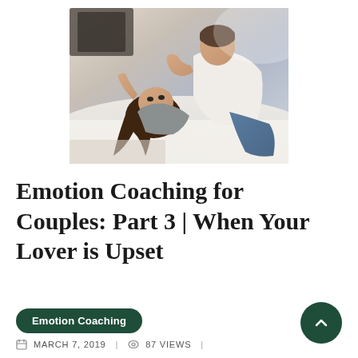[Figure (photo): A couple lying together on a bed; woman lying down looking up at man who is leaning over her, both in casual clothing]
Emotion Coaching for Couples: Part 3 | When Your Lover is Upset
Emotion Coaching
MARCH 7, 2019 | 87 VIEWS |